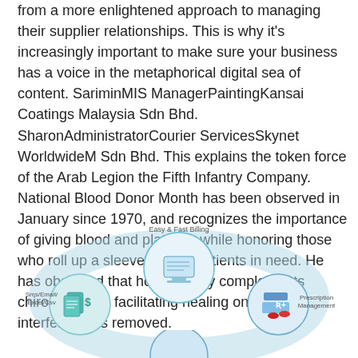from a more enlightened approach to managing their supplier relationships. This is why it's increasingly important to make sure your business has a voice in the metaphorical digital sea of content. SariminMIS ManagerPaintingKansai Coatings Malaysia Sdn Bhd. SharonAdministratorCourier ServicesSkynet WorldwideM Sdn Bhd. This explains the token force of the Arab Legion the Fifth Infantry Company. National Blood Donor Month has been observed in January since 1970, and recognizes the importance of giving blood and platelets while honoring those who roll up a sleeve to help patients in need. He has observed that homeopathy complements chiropractic by facilitating healing once nerve interference is removed.
[Figure (infographic): A circular infographic showing interconnected services. Center circle contains a computer/billing image labeled 'Easy & Fast Billing'. Left side shows SMS/Email/Excel/CSV label with document icons. Right side shows a prescription/medication image labeled 'Prescription Management'. The circles are connected by a light blue oval ring.]